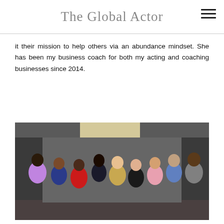The Global Actor
it their mission to help others via an abundance mindset. She has been my business coach for both my acting and coaching businesses since 2014.
[Figure (photo): Group photo of approximately nine people standing together in a hallway or lobby. The group includes men and women of various ethnicities, some smiling. One woman is wearing a red dress, another in purple, one in a floral outfit, and others in casual attire.]